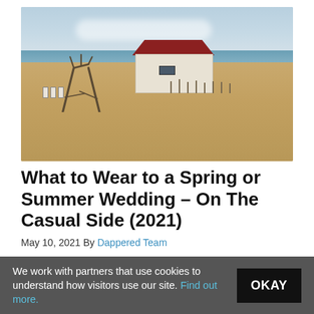[Figure (photo): Beach scene with a small white shack with a dark red roof, a driftwood arch structure to the left, white chairs, sandy beach, ocean and sky in the background with clouds]
What to Wear to a Spring or Summer Wedding – On The Casual Side (2021)
May 10, 2021 By Dappered Team
When the couple is keeping it casual, how do you look
We work with partners that use cookies to understand how visitors use our site. Find out more.